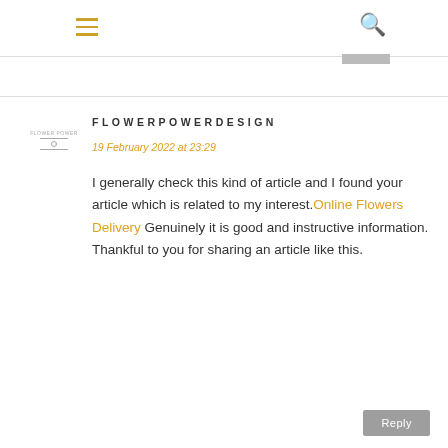≡  🔍
FLOWERPOWERDESIGN
19 February 2022 at 23:29
I generally check this kind of article and I found your article which is related to my interest. Online Flowers Delivery Genuinely it is good and instructive information. Thankful to you for sharing an article like this.